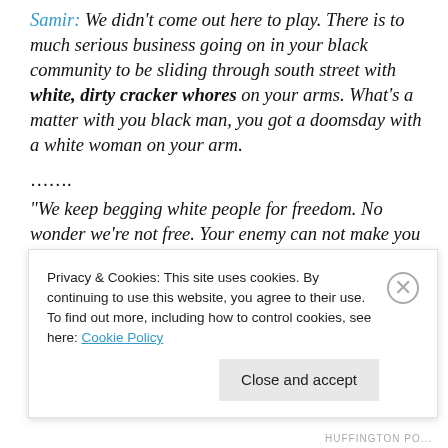Samir: We didn't come out here to play. There is to much serious business going on in your black community to be sliding through south street with white, dirty cracker whores on your arms. What's a matter with you black man, you got a doomsday with a white woman on your arm.
…….
“We keep begging white people for freedom. No wonder we’re not free. Your enemy can not make you free fool. You want freedom you’re going to have to kill some crackers. You’re going to have to kill some of their
Privacy & Cookies: This site uses cookies. By continuing to use this website, you agree to their use.
To find out more, including how to control cookies, see here: Cookie Policy
HUFFINGTON PO...